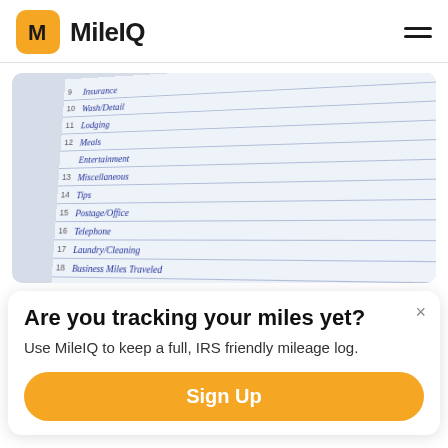[Figure (logo): MileIQ logo with orange rounded square icon containing letter M, and text 'MileIQ' in bold, plus hamburger menu icon on the right]
[Figure (photo): Close-up photo of a tax/expense ledger form showing handwritten entries including rows: Insurance, Wash/Detail, Lodging, Meals, Entertainment, Miscellaneous, Tips, Postage/Office, Telephone, Laundry/Cleaning, Business Miles Traveled, Subtotal, Itemized Deductions section with Taxes, Medical/Dental, and more rows]
Are you tracking your miles yet?
Use MileIQ to keep a full, IRS friendly mileage log.
Sign Up